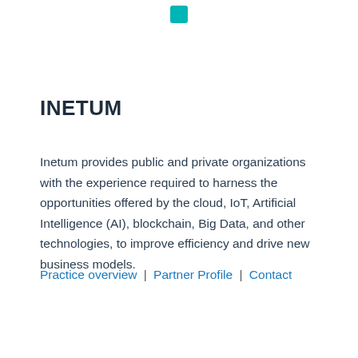[Figure (logo): Small teal/cyan square icon at the top center of the page]
INETUM
Inetum provides public and private organizations with the experience required to harness the opportunities offered by the cloud, IoT, Artificial Intelligence (AI), blockchain, Big Data, and other technologies, to improve efficiency and drive new business models.
Practice overview | Partner Profile | Contact